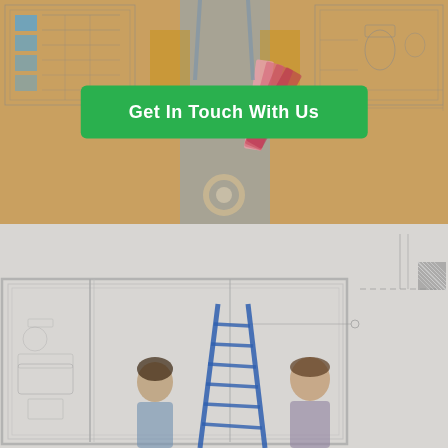[Figure (photo): Top half: yellow/golden background with a person in denim overalls and yellow sweater holding paint color swatches, with architectural blueprint overlays on left and right sides.]
Get In Touch With Us
[Figure (photo): Bottom half: light gray background showing a floor plan blueprint overlay with two people (a man and a woman) looking at each other near a blue ladder/scaffold in a home renovation context.]